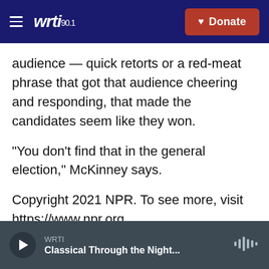[Figure (screenshot): WRTI 90.1 radio station website header with dark blue background, hamburger menu icon, WRTI 90.1 logo in white italic, and a red Donate button with heart icon]
audience — quick retorts or a red-meat phrase that got that audience cheering and responding, that made the candidates seem like they won.
"You don't find that in the general election," McKinney says.
Copyright 2021 NPR. To see more, visit https://www.npr.org.
[Figure (infographic): Social sharing buttons: Facebook (blue), Twitter (blue), Email (white outlined), and Print label]
WRTI — Classical Through the Night...